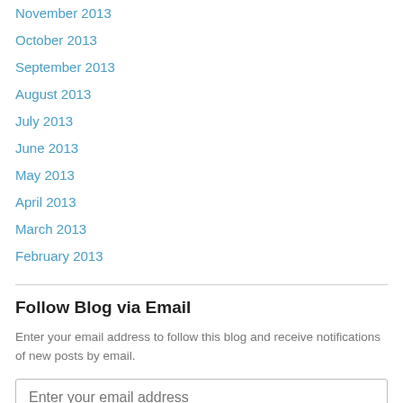November 2013
October 2013
September 2013
August 2013
July 2013
June 2013
May 2013
April 2013
March 2013
February 2013
Follow Blog via Email
Enter your email address to follow this blog and receive notifications of new posts by email.